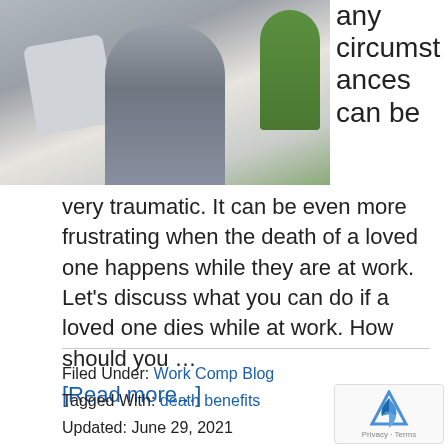[Figure (photo): Person sitting on a bed, leaning back on pillows, with a plant visible in the background. Image is partially cropped showing upper body.]
any circumstances can be very traumatic. It can be even more frustrating when the death of a loved one happens while they are at work. Let's discuss what you can do if a loved one dies while at work. How should you …
[Read more...]
Filed Under: Work Comp Blog
Tagged With: death benefits
Updated: June 29, 2021